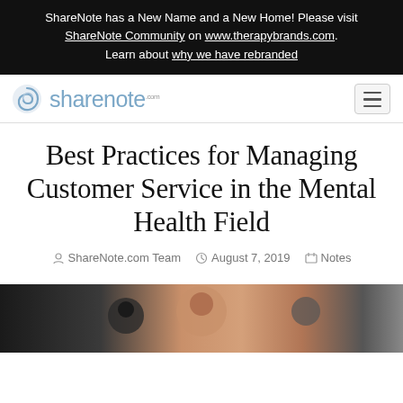ShareNote has a New Name and a New Home! Please visit ShareNote Community on www.therapybrands.com. Learn about why we have rebranded
[Figure (logo): ShareNote logo with stylized S spiral icon and 'sharenote.com' text in blue-grey]
Best Practices for Managing Customer Service in the Mental Health Field
ShareNote.com Team  August 7, 2019  Notes
[Figure (photo): Photo of smiling people, appearing to be a diverse group in a professional setting]